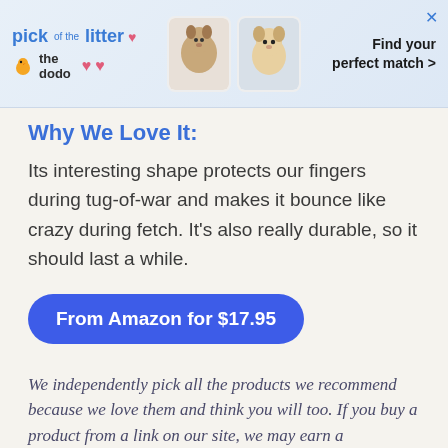[Figure (illustration): Advertisement banner for 'pick of the litter' from The Dodo, showing pet photos and 'Find your perfect match >' text with a close button X]
Why We Love It:
Its interesting shape protects our fingers during tug-of-war and makes it bounce like crazy during fetch. It's also really durable, so it should last a while.
From Amazon for $17.95
We independently pick all the products we recommend because we love them and think you will too. If you buy a product from a link on our site, we may earn a commission.
How many times have you gone to play tug-of-war